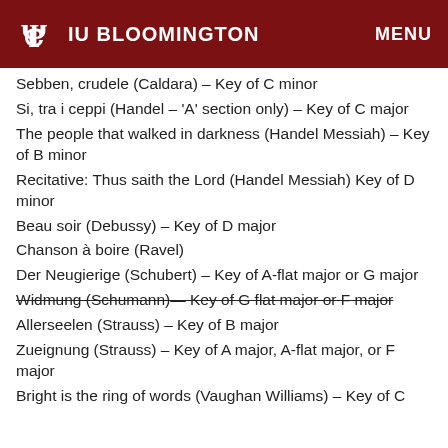IU BLOOMINGTON  MENU
Sebben, crudele (Caldara) – Key of C minor
Si, tra i ceppi (Handel – 'A' section only) – Key of C major
The people that walked in darkness (Handel Messiah) – Key of B minor
Recitative: Thus saith the Lord (Handel Messiah) Key of D minor
Beau soir (Debussy) – Key of D major
Chanson à boire (Ravel)
Der Neugierige (Schubert) – Key of A-flat major or G major
Widmung (Schumann)— Key of G flat major or F major [strikethrough]
Allerseelen (Strauss) – Key of B major
Zueignung (Strauss) – Key of A major, A-flat major, or F major
Bright is the ring of words (Vaughan Williams) – Key of C...